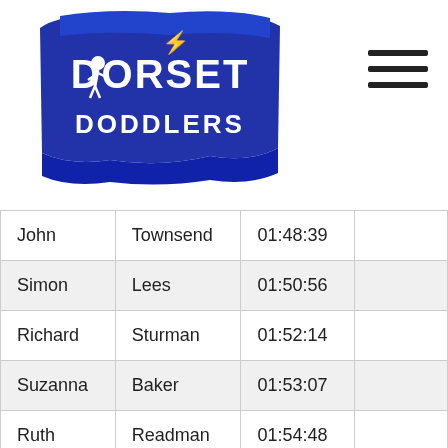[Figure (logo): Dorset Doddlers running club logo — blue shield/banner shape with white text reading DORSET DODDLERS and small lightning bolt figure]
| First Name | Last Name | Time |  |
| --- | --- | --- | --- |
| John | Townsend | 01:48:39 |  |
| Simon | Lees | 01:50:56 |  |
| Richard | Sturman | 01:52:14 |  |
| Suzanna | Baker | 01:53:07 |  |
| Ruth | Readman | 01:54:48 |  |
| Paul | Russell | 01:56:12 |  |
| Rachael | Franklin | 01:56:51 |  |
| Nick | Summons | 01:56:51 |  |